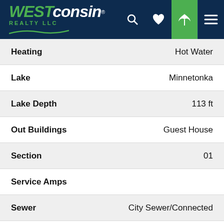[Figure (logo): WESTconsin Realty LLC logo with navigation header icons (search, heart, leaf, menu) on dark navy background]
| Property | Value |
| --- | --- |
| Heating | Hot Water |
| Lake | Minnetonka |
| Lake Depth | 113 ft |
| Out Buildings | Guest House |
| Section | 01 |
| Service Amps |  |
| Sewer | City Sewer/Connected |
| Sidewall Height | ft |
| Subdivision | Auditors Sub 184 |
| Tax Year | 2 |